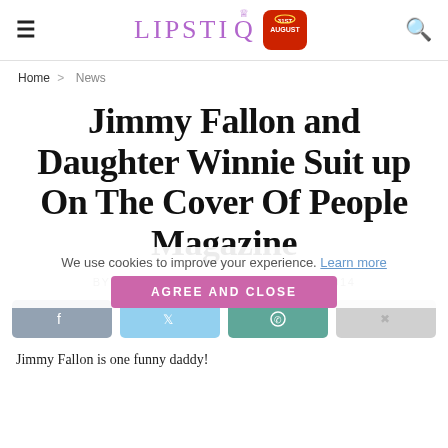LIPSTIQ
Home > News
Jimmy Fallon and Daughter Winnie Suit up On The Cover Of People Magazine
BY ISABEL CLAUDET / JUNE 12, 2014
[Share buttons: Facebook, Twitter, WhatsApp, Pinterest]
We use cookies to improve your experience. Learn more
AGREE AND CLOSE
Jimmy Fallon is one funny daddy!